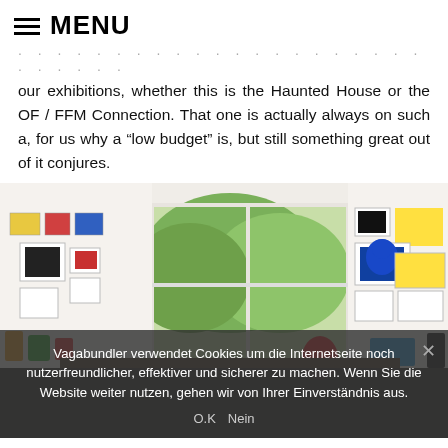≡ MENU
our exhibitions, whether this is the Haunted House or the OF / FFM Connection. That one is actually always on such a, for us why a "low budget" is, but still something great out of it conjures.
[Figure (photo): Interior room photo showing a bright studio/gallery space with artworks and collectible toys displayed on shelves and windowsills, with large windows showing green trees outside.]
Vagabundler verwendet Cookies um die Internetseite noch nutzerfreundlicher, effektiver und sicherer zu machen. Wenn Sie die Website weiter nutzen, gehen wir von Ihrer Einverständnis aus.